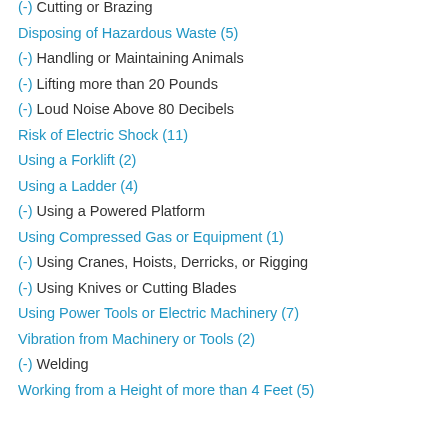(-) Cutting or Brazing
Disposing of Hazardous Waste (5)
(-) Handling or Maintaining Animals
(-) Lifting more than 20 Pounds
(-) Loud Noise Above 80 Decibels
Risk of Electric Shock (11)
Using a Forklift (2)
Using a Ladder (4)
(-) Using a Powered Platform
Using Compressed Gas or Equipment (1)
(-) Using Cranes, Hoists, Derricks, or Rigging
(-) Using Knives or Cutting Blades
Using Power Tools or Electric Machinery (7)
Vibration from Machinery or Tools (2)
(-) Welding
Working from a Height of more than 4 Feet (5)